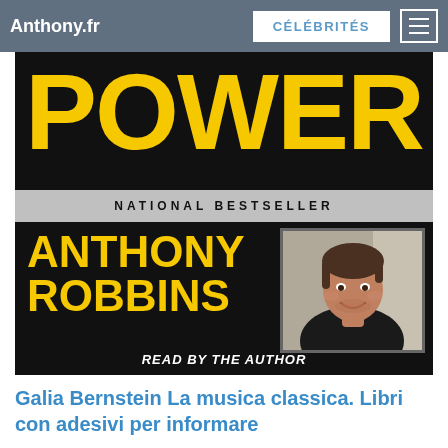Anthony.fr  CÉLÉBRITÉS
[Figure (photo): Book cover for Anthony Robbins 'POWER' audiobook. Large yellow bold text 'POWER' on black background, gray band reading 'NATIONAL BESTSELLER', then 'ANTHONY ROBBINS' in large yellow text alongside a photo of Anthony Robbins smiling in a black shirt, and 'READ BY THE AUTHOR' at the bottom.]
Galia Bernstein La musica classica. Libri con adesivi per informare